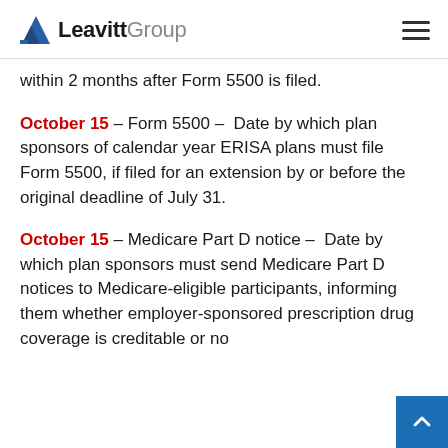Leavitt Group
within 2 months after Form 5500 is filed.
October 15 – Form 5500 – Date by which plan sponsors of calendar year ERISA plans must file Form 5500, if filed for an extension by or before the original deadline of July 31.
October 15 – Medicare Part D notice – Date by which plan sponsors must send Medicare Part D notices to Medicare-eligible participants, informing them whether employer-sponsored prescription drug coverage is creditable or no